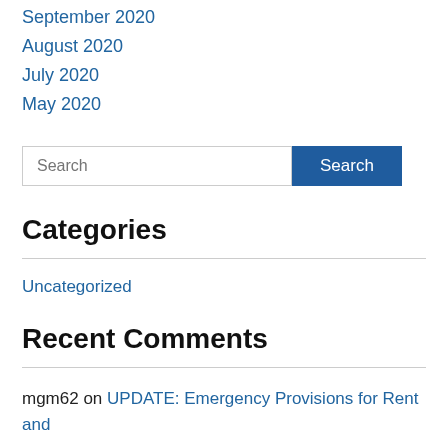September 2020
August 2020
July 2020
May 2020
Categories
Uncategorized
Recent Comments
mgm62 on UPDATE: Emergency Provisions for Rent and